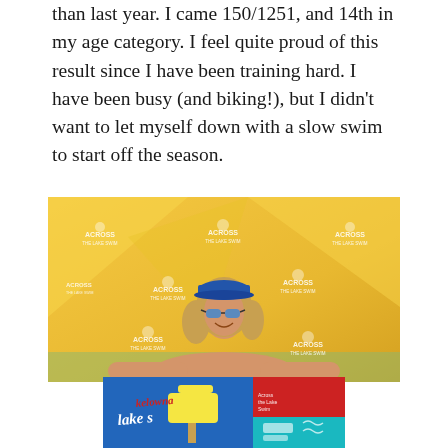than last year. I came 150/1251, and 14th in my age category. I feel quite proud of this result since I have been training hard. I have been busy (and biking!), but I didn't want to let myself down with a slow swim to start off the season.
[Figure (photo): A woman holding a colorful towel/banner reading 'Across the Lake Swim – Kelowna' standing in front of a yellow and blue 'Across the Lake Swim' branded backdrop. She is wearing a blue cap and sunglasses.]